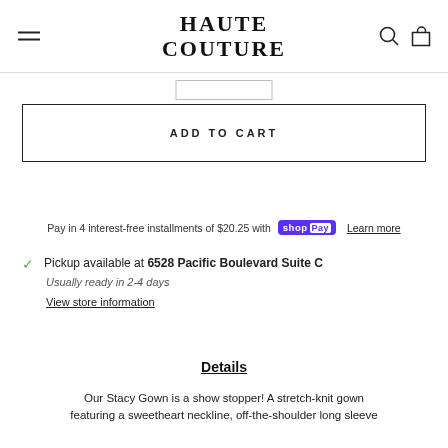HAUTE COUTURE
ADD TO CART
Pay in 4 interest-free installments of $20.25 with Shop Pay Learn more
Pickup available at 6528 Pacific Boulevard Suite C
Usually ready in 2-4 days
View store information
Details
Our Stacy Gown is a show stopper! A stretch-knit gown featuring a sweetheart neckline, off-the-shoulder long sleeve